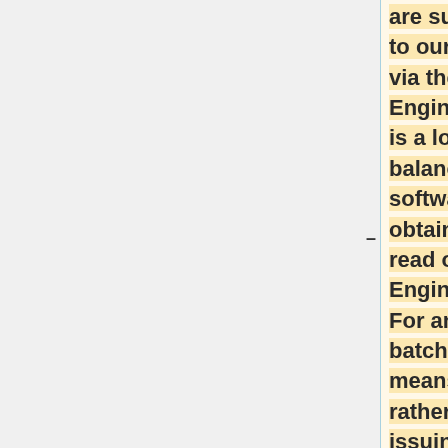are submitted to our systems via the Grid Engine, which is a load-balancing software. To obtain details, read our Grid Engine FAQ. For an ADF batch job, this means that rather than issuing the above commands directly, you wrap them into a Grid Engine batch script. Here is an example for such a batch